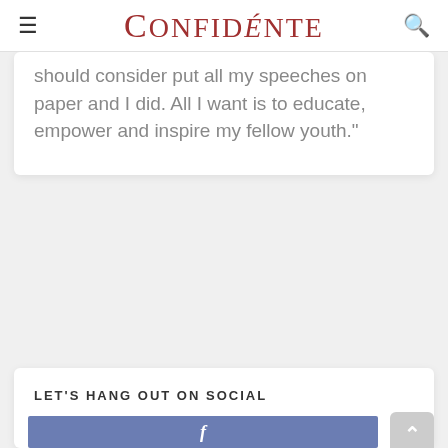≡  Confidénte  🔍
should consider put all my speeches on paper and I did. All I want is to educate, empower and inspire my fellow youth."
LET'S HANG OUT ON SOCIAL
[Figure (other): Facebook social media button bar with white 'f' icon on a blue-purple background]